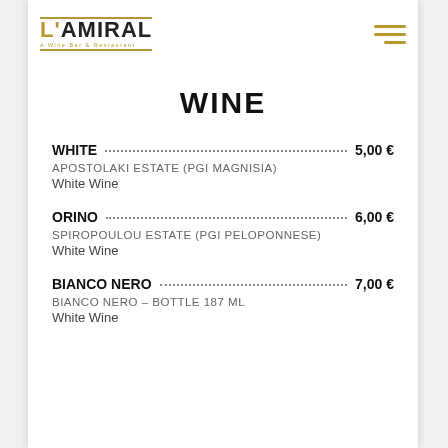L'AMIRAL – Wine Bar & Restaurant
WINE
WHITE … 5,00 €
APOSTOLAKI ESTATE (PGI MAGNISIA)
White Wine
ORINO … 6,00 €
SIROPOULOU ESTATE (PGI PELOPONNESE)
White Wine
BIANCO NERO … 7,00 €
BIANCO NERO – BOTTLE 187 ml
White Wine